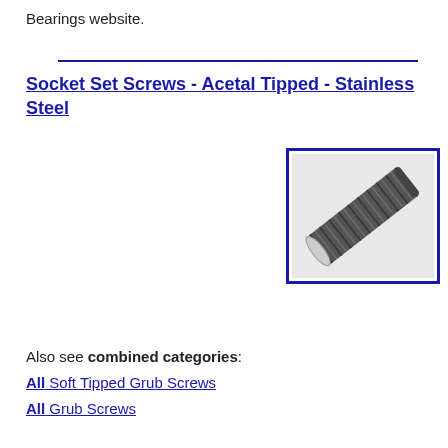Bearings website.
[Figure (photo): A stainless steel socket set screw with acetal tip, shown at an angle to display the threaded body and flat tip end.]
Socket Set Screws - Acetal Tipped - Stainless Steel
Sizes & Prices
Also see combined categories:
All Soft Tipped Grub Screws
All Grub Screws